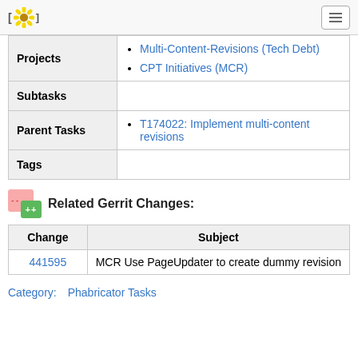[MCR] (logo with hamburger menu)
| Label | Value |
| --- | --- |
| Projects | • Multi-Content-Revisions (Tech Debt)
• CPT Initiatives (MCR) |
| Subtasks |  |
| Parent Tasks | • T174022: Implement multi-content revisions |
| Tags |  |
Related Gerrit Changes:
| Change | Subject |
| --- | --- |
| 441595 | MCR Use PageUpdater to create dummy revision |
Category:    Phabricator Tasks